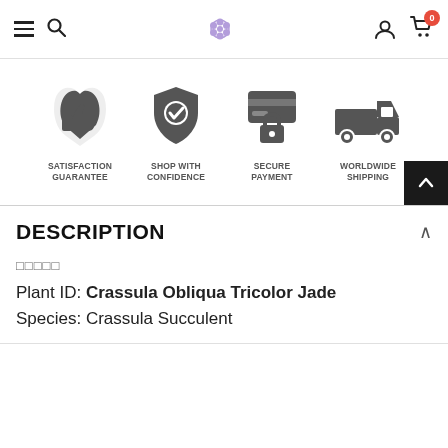Navigation bar with hamburger menu, search, logo, user account, and cart (0)
[Figure (infographic): Four trust badge icons: Satisfaction Guarantee (thumbs up), Shop With Confidence (shield with checkmark), Secure Payment (lock with card), Worldwide Shipping (delivery truck), with labels below each icon]
DESCRIPTION
□□□□□
Plant ID: Crassula Obliqua Tricolor Jade
Species: Crassula Succulent